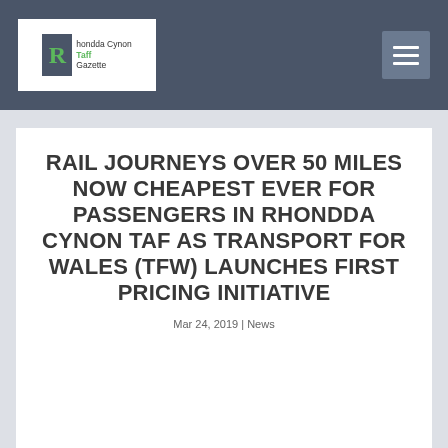Rhondda Cynon Taff Gazette
RAIL JOURNEYS OVER 50 MILES NOW CHEAPEST EVER FOR PASSENGERS IN RHONDDA CYNON TAF AS TRANSPORT FOR WALES (TFW) LAUNCHES FIRST PRICING INITIATIVE
Mar 24, 2019 | News